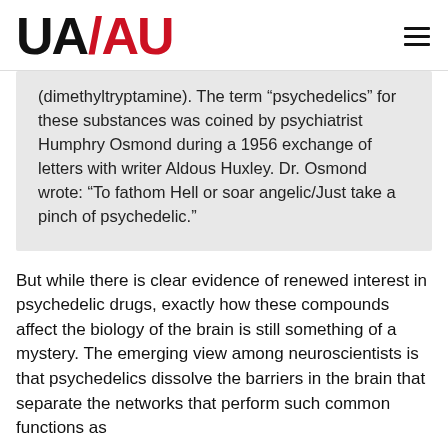UA/AU logo and navigation
(dimethyltryptamine). The term “psychedelics” for these substances was coined by psychiatrist Humphry Osmond during a 1956 exchange of letters with writer Aldous Huxley. Dr. Osmond wrote: “To fathom Hell or soar angelic/Just take a pinch of psychedelic.”
But while there is clear evidence of renewed interest in psychedelic drugs, exactly how these compounds affect the biology of the brain is still something of a mystery. The emerging view among neuroscientists is that psychedelics dissolve the barriers in the brain that separate the networks that perform such common functions as